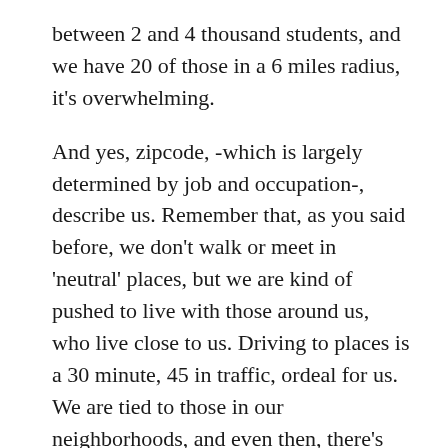between 2 and 4 thousand students, and we have 20 of those in a 6 miles radius, it's overwhelming.
And yes, zipcode, -which is largely determined by job and occupation-, describe us. Remember that, as you said before, we don't walk or meet in 'neutral' places, but we are kind of pushed to live with those around us, who live close to us. Driving to places is a 30 minute, 45 in traffic, ordeal for us. We are tied to those in our neighborhoods, and even then, there's low areas, and high class areas, yes. My youngest has a friend who lives in a gated community, and you have to present your driver's license every time you visit